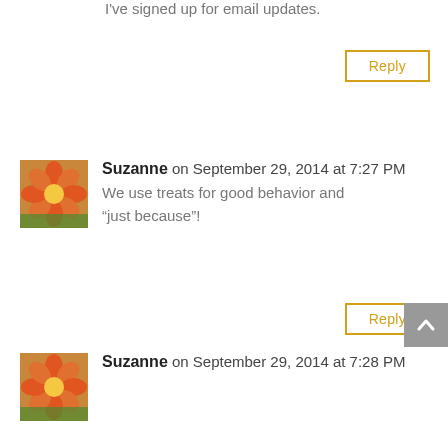I've signed up for email updates.
Reply
Suzanne on September 29, 2014 at 7:27 PM
We use treats for good behavior and “just because”!
Reply
Suzanne on September 29, 2014 at 7:28 PM
I’m subscribed! 🙂
Reply
Suzanne on September 29, 2014 at 7:30 PM